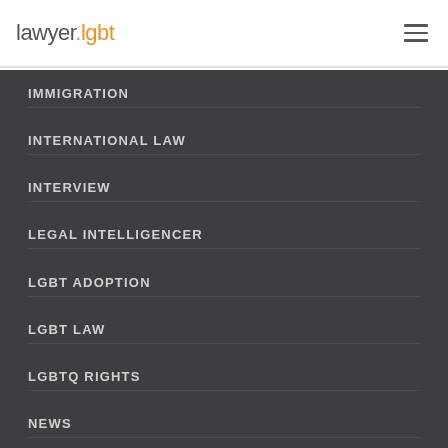lawyer.lgbt
IMMIGRATION
INTERNATIONAL LAW
INTERVIEW
LEGAL INTELLIGENCER
LGBT ADOPTION
LGBT LAW
LGBTQ RIGHTS
NEWS